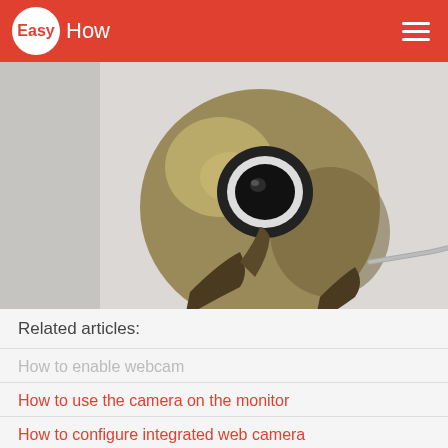Easy How
[Figure (photo): A gold-colored spherical webcam with a black lens and tripod-style base stand, with a gray cable, on a light gray background.]
Related articles:
How to enable webcam
How to use the camera on the monitor
How to configure integrated web camera